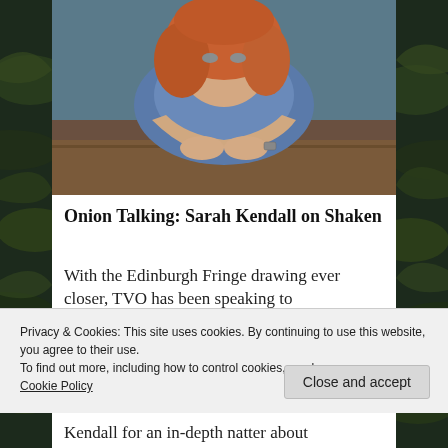[Figure (photo): A woman with curly reddish-brown hair leaning her arms on a wooden table, looking directly at the camera. She wears a blue plaid shirt and a watch. Background appears to be a kitchen or bar area.]
Onion Talking: Sarah Kendall on Shaken
With the Edinburgh Fringe drawing ever closer, TVO has been speaking to
Privacy & Cookies: This site uses cookies. By continuing to use this website, you agree to their use.
To find out more, including how to control cookies, see here:
Cookie Policy
Close and accept
Kendall for an in-depth natter about